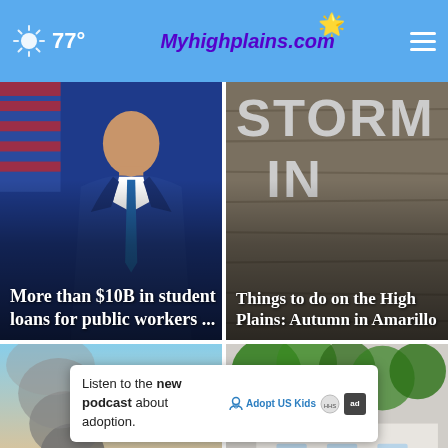77° Myhighplains.com ☰
[Figure (screenshot): News card 1: Man in blue suit with tie at podium, American flag in background. Headline overlay: 'More than $10B in student loans for public workers ...']
[Figure (screenshot): News card 2: Weathered wooden sign with large letters. Headline overlay: 'Things to do on the High Plains: Autumn in Amarillo']
[Figure (screenshot): News card 3: Dark smoke plume rising against sunset sky. Partial headline at bottom: 'Fat...' (truncated)]
[Figure (screenshot): News card 4: Green leaves and building with letters 'UNIVER...'. Close (x) button visible. Partial text 'EN' visible at bottom right.]
Listen to the new podcast about adoption.